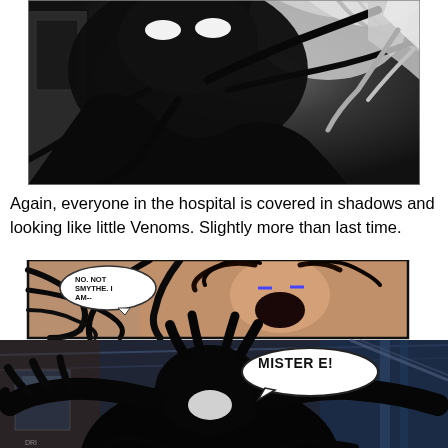[Figure (illustration): Comic book panel showing Venom or a symbiote character in a dark hospital setting, with black tendrils and shadowy forms. Top panel shows a large dark figure looming.]
Again, everyone in the hospital is covered in shadows and looking like little Venoms. Slightly more than last time.
[Figure (illustration): Comic book panels: upper panel shows a man screaming with black symbiote tendrils with speech bubble 'NO. NOT SMYTHE. I AM--'; lower panel shows a large dark symbiote silhouette with speech bubble 'MISTER E!']